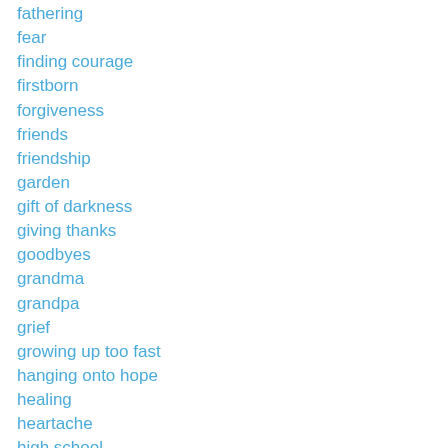fathering
fear
finding courage
firstborn
forgiveness
friends
friendship
garden
gift of darkness
giving thanks
goodbyes
grandma
grandpa
grief
growing up too fast
hanging onto hope
healing
heartache
high school
holidays